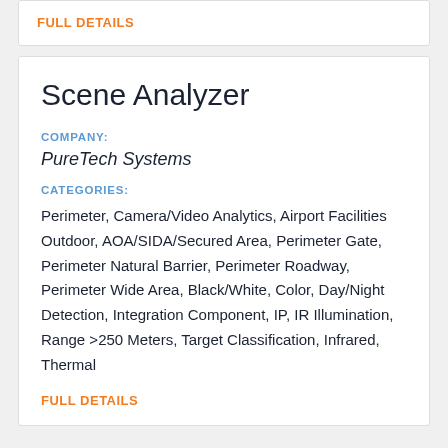FULL DETAILS
Scene Analyzer
COMPANY:
PureTech Systems
CATEGORIES:
Perimeter, Camera/Video Analytics, Airport Facilities Outdoor, AOA/SIDA/Secured Area, Perimeter Gate, Perimeter Natural Barrier, Perimeter Roadway, Perimeter Wide Area, Black/White, Color, Day/Night Detection, Integration Component, IP, IR Illumination, Range >250 Meters, Target Classification, Infrared, Thermal
FULL DETAILS